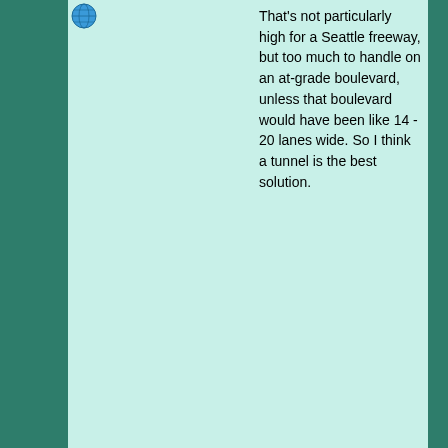That's not particularly high for a Seattle freeway, but too much to handle on an at-grade boulevard, unless that boulevard would have been like 14 - 20 lanes wide. So I think a tunnel is the best solution.
Logged
European Roads @ Youtube • European Roads @ Flickr
V'Ger
Unperson
Parking Lot
Offline
Posts: 0
Location: Banville
Last Login: May 22, 2009, 11:02:39 PM
Re: Alaskan Way Tunnel?!?! « Reply #7 on: January 18, 2009, 04:49:46 PM »